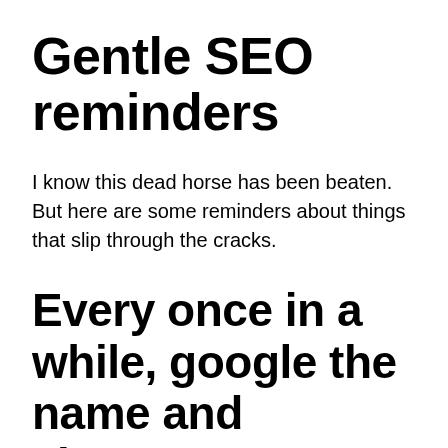Gentle SEO reminders
I know this dead horse has been beaten. But here are some reminders about things that slip through the cracks.
Every once in a while, google the name and alternate names of your organization and check